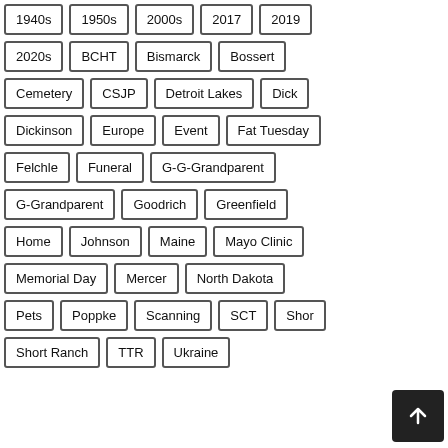1940s
1950s
2000s
2017
2019
2020s
BCHT
Bismarck
Bossert
Cemetery
CSJP
Detroit Lakes
Dick
Dickinson
Europe
Event
Fat Tuesday
Felchle
Funeral
G-G-Grandparent
G-Grandparent
Goodrich
Greenfield
Home
Johnson
Maine
Mayo Clinic
Memorial Day
Mercer
North Dakota
Pets
Poppke
Scanning
SCT
Shor
Short Ranch
TTR
Ukraine